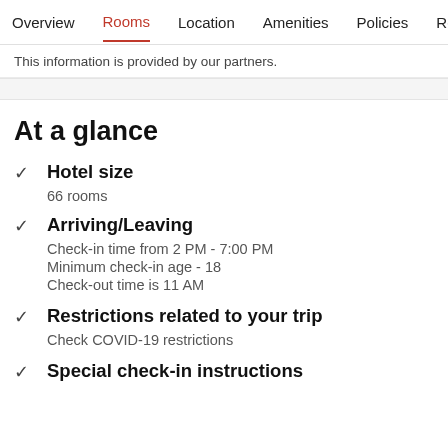Overview | Rooms | Location | Amenities | Policies | Reviews
This information is provided by our partners.
At a glance
Hotel size
66 rooms
Arriving/Leaving
Check-in time from 2 PM - 7:00 PM
Minimum check-in age - 18
Check-out time is 11 AM
Restrictions related to your trip
Check COVID-19 restrictions
Special check-in instructions (partial)